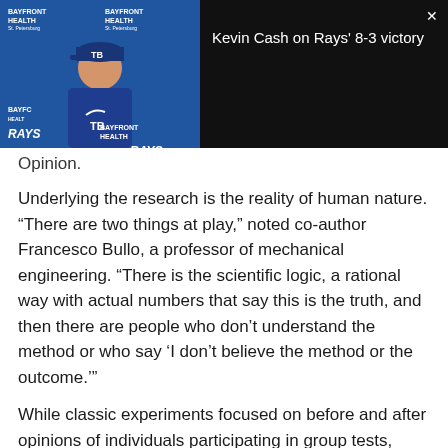[Figure (screenshot): Video overlay showing a Tampa Bay Rays press conference with coach Kevin Cash. Left side shows video thumbnail of man in blue Rays jacket with Bayfront Health backdrop. Right side shows black panel with title 'Kevin Cash on Rays 8-3 victory' and X close button.]
Opinion.
Underlying the research is the reality of human nature. “There are two things at play,” noted co-author Francesco Bullo, a professor of mechanical engineering. “There is the scientific logic, a rational way with actual numbers that say this is the truth, and then there are people who don’t understand the method or who say ‘I don’t believe the method or the outcome.’”
While classic experiments focused on before and after opinions of individuals participating in group tests, Friedkin and Bullo dialed down to the throughput — complex interpersonal influences swirling among individual members of a group. As they note in their paper https://tinyurl.com/yaol6h5c, the researchers “provide